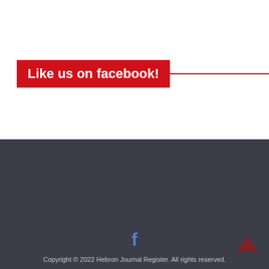Like us on facebook!
Copyright © 2022 Hebron Journal Register. All rights reserved.